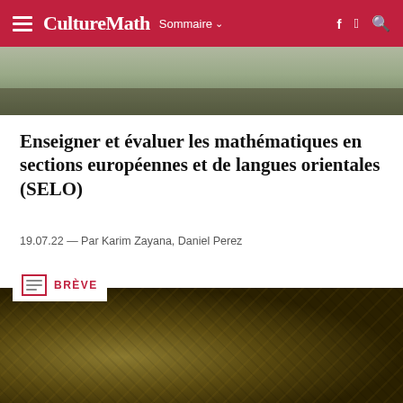CultureMath  Sommaire
[Figure (photo): Top partial photo of a classroom scene showing people's feet and a colorful floor area]
Enseigner et évaluer les mathématiques en sections européennes et de langues orientales (SELO)
19.07.22 — Par Karim Zayana, Daniel Perez
BRÈVE
[Figure (photo): Fractal architectural image in gold/bronze tones showing intricate mechanical or gothic structures]